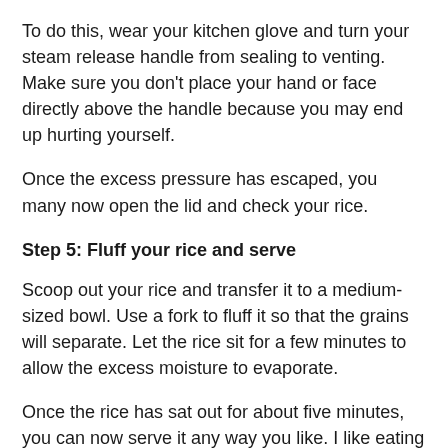To do this, wear your kitchen glove and turn your steam release handle from sealing to venting. Make sure you don't place your hand or face directly above the handle because you may end up hurting yourself.
Once the excess pressure has escaped, you many now open the lid and check your rice.
Step 5: Fluff your rice and serve
Scoop out your rice and transfer it to a medium-sized bowl. Use a fork to fluff it so that the grains will separate. Let the rice sit for a few minutes to allow the excess moisture to evaporate.
Once the rice has sat out for about five minutes, you can now serve it any way you like. I like eating my basmati rice with a piece of roasted chicken thigh or lamb. You can also make a healthy salad with it by tossing it with nuts, herbs, and olive oil.